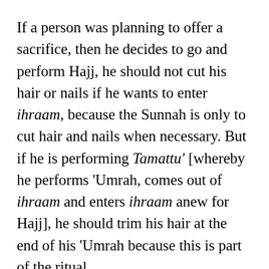If a person was planning to offer a sacrifice, then he decides to go and perform Hajj, he should not cut his hair or nails if he wants to enter ihraam, because the Sunnah is only to cut hair and nails when necessary. But if he is performing Tamattu' [whereby he performs 'Umrah, comes out of ihraam and enters ihraam anew for Hajj], he should trim his hair at the end of his 'Umrah because this is part of the ritual.
The things that are described above as being prohibited for the person who is planning to